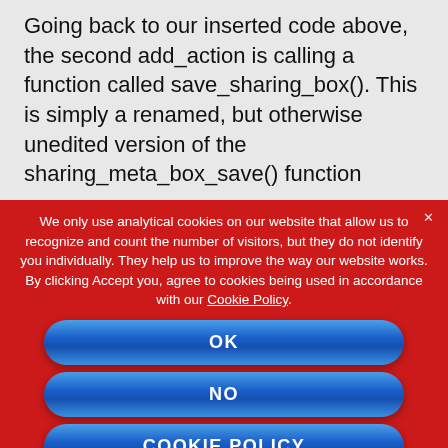Going back to our inserted code above, the second add_action is calling a function called save_sharing_box(). This is simply a renamed, but otherwise unedited version of the sharing_meta_box_save() function
We only use analytical cookies on our website that allow us to recognize and count the number of visitors, but they do not identify you individually. They help us to improve the way our website works. By clicking Accept you, agree to cookies being used in accordance with our Cookie Policy.
OK
NO
COOKIE POLICY